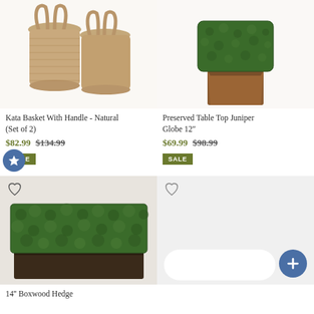[Figure (photo): Kata Basket With Handle Natural woven baskets set of 2]
Kata Basket With Handle - Natural (Set of 2)
$82.99 $134.99
SALE
[Figure (photo): Preserved Table Top Juniper Globe 12 inch in brown square pot]
Preserved Table Top Juniper Globe 12"
$69.99 $98.99
SALE
[Figure (photo): 14 inch Boxwood Hedge in dark rectangular planter]
14'' Boxwood Hedge
[Figure (photo): Product placeholder with loading spinner]